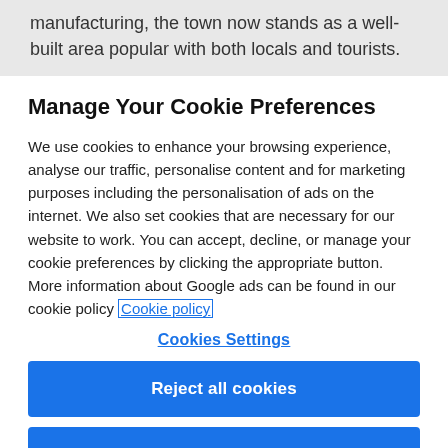manufacturing, the town now stands as a well-built area popular with both locals and tourists.
Manage Your Cookie Preferences
We use cookies to enhance your browsing experience, analyse our traffic, personalise content and for marketing purposes including the personalisation of ads on the internet. We also set cookies that are necessary for our website to work. You can accept, decline, or manage your cookie preferences by clicking the appropriate button. More information about Google ads can be found in our cookie policy Cookie policy
Cookies Settings
Reject all cookies
Accept all cookies